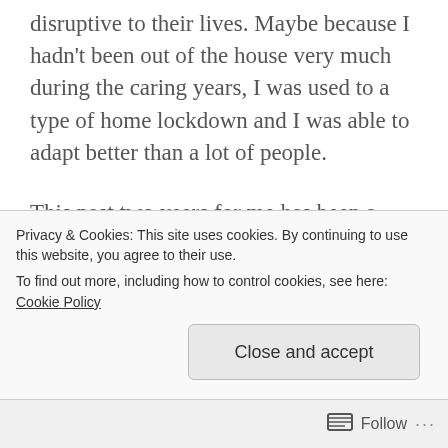disruptive to their lives. Maybe because I hadn't been out of the house very much during the caring years, I was used to a type of home lockdown and I was able to adapt better than a lot of people.
This past two years for me has been a period of ongoing evaluation. It's very difficult when life changes suddenly and life as you knew it just stops. I know that I found my strength and independence from within. I realised that I had been taught to be that way by my parents and family. It's now that I feel I am emerging and although I am the same I'm
Privacy & Cookies: This site uses cookies. By continuing to use this website, you agree to their use.
To find out more, including how to control cookies, see here: Cookie Policy
Close and accept
Follow ···